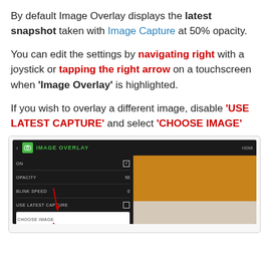By default Image Overlay displays the latest snapshot taken with Image Capture at 50% opacity.
You can edit the settings by navigating right with a joystick or tapping the right arrow on a touchscreen when 'Image Overlay' is highlighted.
If you wish to overlay a different image, disable 'USE LATEST CAPTURE' and select 'CHOOSE IMAGE'
[Figure (screenshot): Screenshot of IMAGE OVERLAY menu on a dark UI showing ON (checked), OPACITY 50, BLINK SPEED 0, USE LATEST CAPTURE (unchecked, with red arrow pointing to it), and CHOOSE IMAGE (highlighted row, with red arrow). Right side shows orange/tan camera preview area.]